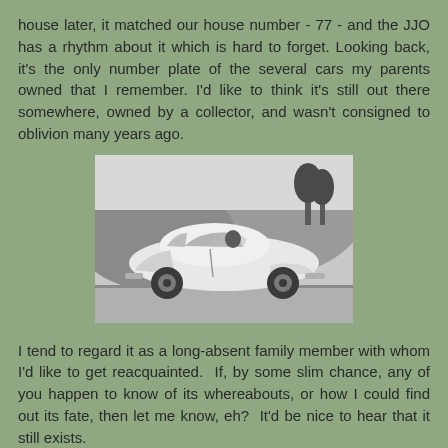house later, it matched our house number - 77 - and the JJO has a rhythm about it which is hard to forget. Looking back, it's the only number plate of the several cars my parents owned that I remember. I'd like to think it's still out there somewhere, owned by a collector, and wasn't consigned to oblivion many years ago.
[Figure (photo): Black and white photograph of a vintage small car (resembling a Bond Bug or similar 1960s-70s microcar) seen from the side, with a hilly background.]
I tend to regard it as a long-absent family member with whom I'd like to get reacquainted.  If, by some slim chance, any of you happen to know of its whereabouts, or how I could find out its fate, then let me know, eh?  It'd be nice to hear that it still exists.
******